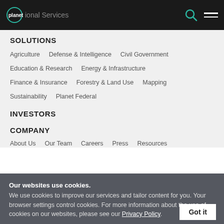planet Professional Services
SOLUTIONS
Agriculture
Defense & Intelligence
Civil Government
Education & Research
Energy & Infrastructure
Finance & Insurance
Forestry & Land Use
Mapping
Sustainability
Planet Federal
INVESTORS
COMPANY
About Us
Our Team
Careers
Press
Resources
Our websites use cookies. We use cookies to improve our services and tailor content for you. Your browser settings control cookies. For more information about the use of cookies on our websites, please see our Privacy Policy.